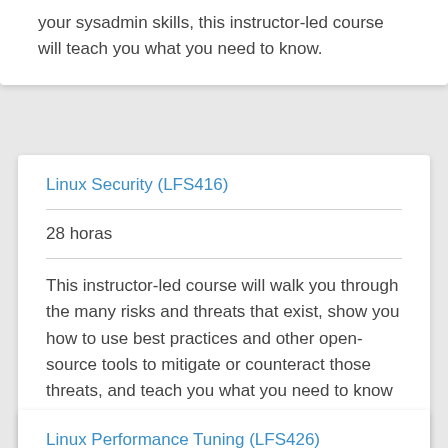your sysadmin skills, this instructor-led course will teach you what you need to know.
Linux Security (LFS416)
28 horas
This instructor-led course will walk you through the many risks and threats that exist, show you how to use best practices and other open-source tools to mitigate or counteract those threats, and teach you what you need to know to detect and recover from those attacks that do happen.
Linux Performance Tuning (LFS426)